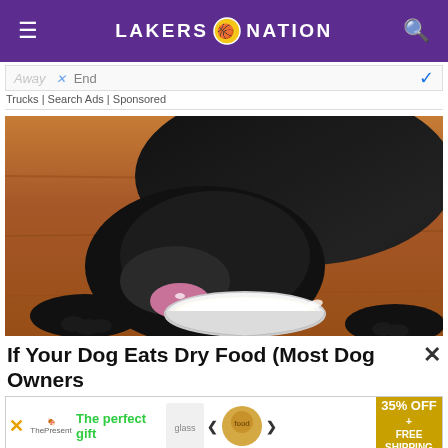LAKERS NATION
Away... End
Trucks | Search Ads | Sponsored
[Figure (photo): A black Labrador dog licking white yogurt/cream from a small square glass dish on a wooden floor.]
If Your Dog Eats Dry Food (Most Dog Owners
[Figure (infographic): Bottom advertisement banner: 'The perfect gift' with food product images, navigation arrows, and '35% OFF + FREE SHIPPING' gold promo box.]